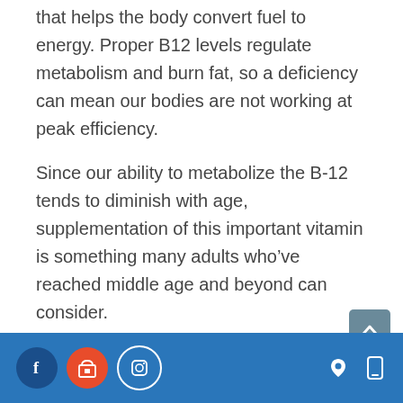that helps the body convert fuel to energy. Proper B12 levels regulate metabolism and burn fat, so a deficiency can mean our bodies are not working at peak efficiency.
Since our ability to metabolize the B-12 tends to diminish with age, supplementation of this important vitamin is something many adults who’ve reached middle age and beyond can consider.
Terry Conrad, APRN administers B-12
Footer with social icons: Facebook, Store, Instagram on left; location and mobile icons on right